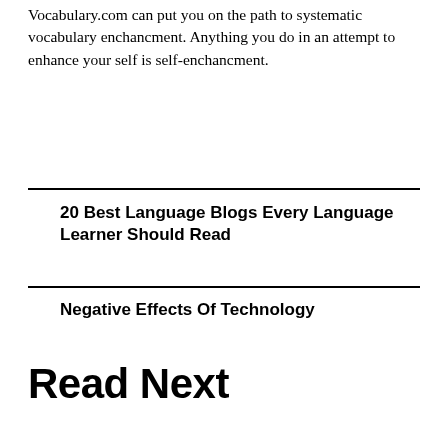Vocabulary.com can put you on the path to systematic vocabulary enchancment. Anything you do in an attempt to enhance your self is self-enchancment.
20 Best Language Blogs Every Language Learner Should Read
Negative Effects Of Technology
Read Next